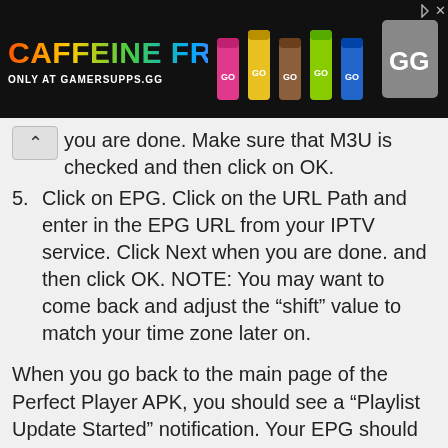[Figure (screenshot): Advertisement banner for GamerSupps.GG featuring 'Caffeine Free Only at GamerSupps.GG' text with colorful product cans and logo on dark background]
you are done. Make sure that M3U is checked and then click on OK.
5. Click on EPG. Click on the URL Path and enter in the EPG URL from your IPTV service. Click Next when you are done. and then click OK. NOTE: You may want to come back and adjust the “shift” value to match your time zone later on.
When you go back to the main page of the Perfect Player APK, you should see a “Playlist Update Started” notification. Your EPG should soon start